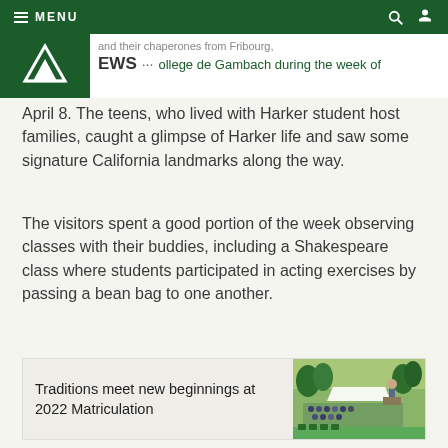MENU | NEWS ... ollege de Gambach during the week of
April 8. The teens, who lived with Harker student host families, caught a glimpse of Harker life and saw some signature California landmarks along the way.
The visitors spent a good portion of the week observing classes with their buddies, including a Shakespeare class where students participated in acting exercises by passing a bean bag to one another.
[Figure (photo): Related article card with photo of an outdoor graduation/matriculation ceremony. A speaker stands at a podium in front of a seated crowd on a green lawn with trees in the background.]
Traditions meet new beginnings at 2022 Matriculation
Their week also included a couple of special field trips. Students were treated to a tour of the Google campus in Mountain View and got to visit the world-famous